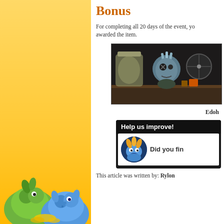Bonus
For completing all 20 days of the event, you are awarded the item.
[Figure (illustration): Dark-toned illustration of a cartoon character with spiky blue hair and one eye visible, surrounded by jars and items on a wooden shelf]
Edoh
Help us improve!
[Figure (illustration): Round blue creature icon with a crown of feathers/leaves, looking grumpy or determined]
Did you fin
This article was written by: Rylon
[Figure (illustration): Green and blue cartoon creature characters at the bottom left corner of the page, on a yellow-orange gradient background]